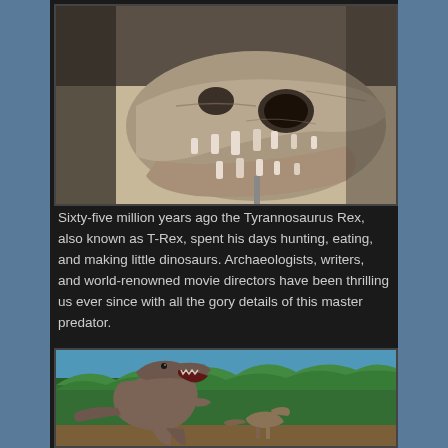[Figure (photo): Close-up photograph of a Tyrannosaurus Rex skull fossil/skeleton displayed in a museum, showing large teeth and bone structure against a light background]
Sixty-five million years ago the Tyrannosaurus Rex, also known as T-Rex, spent his days hunting, eating, and making little dinosaurs. Archaeologists, writers, and world-renowned movie directors have been thrilling us ever since with all the gory details of this master predator.
[Figure (photo): Photograph of a life-size T-Rex dinosaur model/replica outdoors with green trees and blue sky in the background, showing the dinosaur in an attacking pose with a smaller dinosaur nearby]